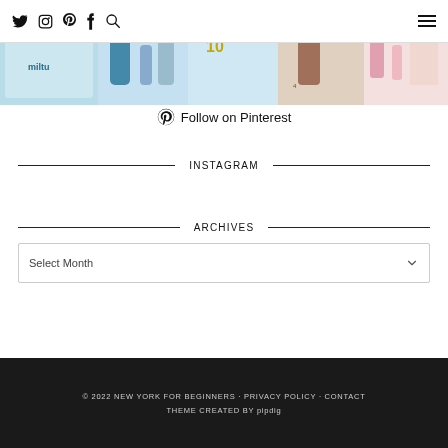Twitter Instagram Pinterest Facebook Search [hamburger menu]
[Figure (photo): A collage/gallery of beauty product images: milty product, blue tube beauty product, skincare serums, numbered products with star badges, coral pink products, and floral/botanical elements]
Follow on Pinterest
INSTAGRAM
ARCHIVES
Select Month
© 2022 NEW YORK FOR BEGINNERS · PRIVACY POLICY · CONTACT  THEME CREATED BY pipdig